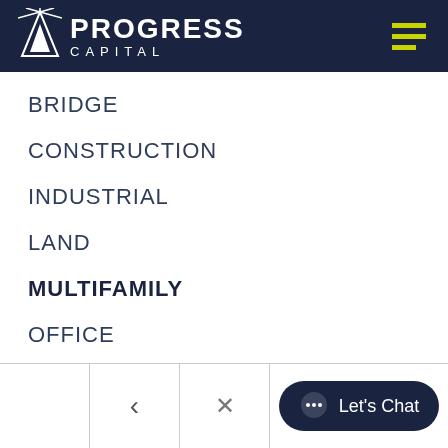PROGRESS CAPITAL
BRIDGE
CONSTRUCTION
INDUSTRIAL
LAND
MULTIFAMILY
OFFICE
RETAIL
SELF-STORAGE
STNL